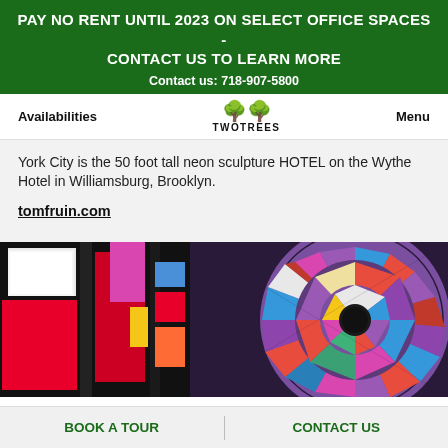PAY NO RENT UNTIL 2023 ON SELECT OFFICE SPACES - CONTACT US TO LEARN MORE
Contact us: 718-907-5800
Availabilities  TWOTREES  Menu
York City is the 50 foot tall neon sculpture HOTEL on the Wythe Hotel in Williamsburg, Brooklyn.
tomfruin.com
[Figure (photo): Colorful stained-glass style circular mosaic artwork with vibrant reds, blues, purples, and whites, alongside illuminated neon sign panels on the left side.]
BOOK A TOUR   CONTACT US